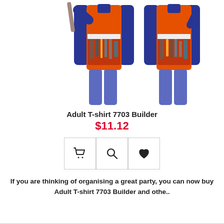[Figure (photo): Two men wearing orange builder costume t-shirts with tool belt print design over blue long-sleeve shirts and jeans. Left figure holds a wooden stick. Both shirts are orange high-visibility style with printed tools.]
Adult T-shirt 7703 Builder
$11.12
[Figure (infographic): Three action buttons in a row: shopping cart icon, magnifying glass/search icon, and heart/wishlist icon, each in a square bordered box.]
If you are thinking of organising a great party, you can now buy Adult T-shirt 7703 Builder and othe..